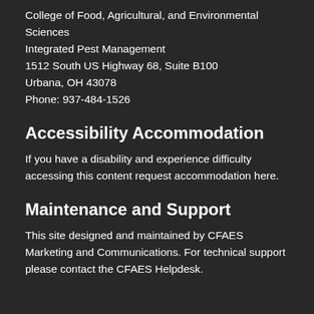College of Food, Agricultural, and Environmental Sciences
Integrated Pest Management
1512 South US Highway 68, Suite B100
Urbana, OH 43078
Phone: 937-484-1526
Accessibility Accommodation
If you have a disability and experience difficulty accessing this content request accommodation here.
Maintenance and Support
This site designed and maintained by CFAES Marketing and Communications. For technical support please contact the CFAES Helpdesk.